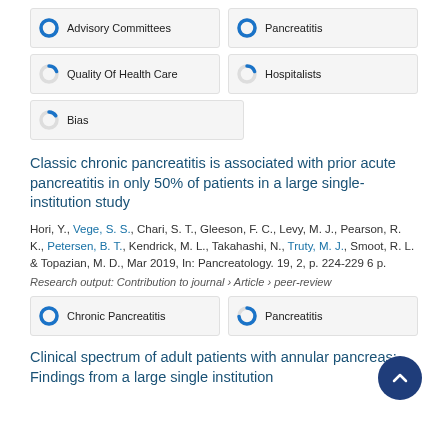[Figure (infographic): Keyword badge: 100% Advisory Committees (full blue donut)]
[Figure (infographic): Keyword badge: 100% Pancreatitis (full blue donut)]
[Figure (infographic): Keyword badge: ~20% Quality Of Health Care (partial blue donut)]
[Figure (infographic): Keyword badge: ~20% Hospitalists (partial blue donut)]
[Figure (infographic): Keyword badge: ~15% Bias (partial blue donut)]
Classic chronic pancreatitis is associated with prior acute pancreatitis in only 50% of patients in a large single-institution study
Hori, Y., Vege, S. S., Chari, S. T., Gleeson, F. C., Levy, M. J., Pearson, R. K., Petersen, B. T., Kendrick, M. L., Takahashi, N., Truty, M. J., Smoot, R. L. & Topazian, M. D., Mar 2019, In: Pancreatology. 19, 2, p. 224-229 6 p.
Research output: Contribution to journal › Article › peer-review
[Figure (infographic): Keyword badge: 100% Chronic Pancreatitis (full blue donut)]
[Figure (infographic): Keyword badge: ~75% Pancreatitis (partial blue donut)]
Clinical spectrum of adult patients with annular pancreas: Findings from a large single institution